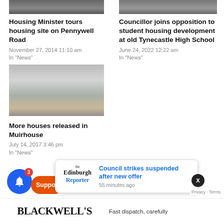[Figure (photo): Top left thumbnail photo - people outdoors]
[Figure (photo): Top right thumbnail photo - building exterior]
Housing Minister tours housing site on Pennywell Road
November 27, 2014 11:10 am
In "News"
Councillor joins opposition to student housing development at old Tynecastle High School
June 24, 2022 12:22 am
In "News"
[Figure (photo): Large photo of residential houses/flats, white rendered terrace with grey roof]
More houses released in Muirhouse
July 14, 2017 3:46 pm
In "News"
[Figure (screenshot): Notification popup from The Edinburgh Reporter: Council strikes suspended after new offer - 55 minutes ago]
Council strikes suspended after new offer
55 minutes ago
BLACKWELL'S   Fast dispatch, carefully...